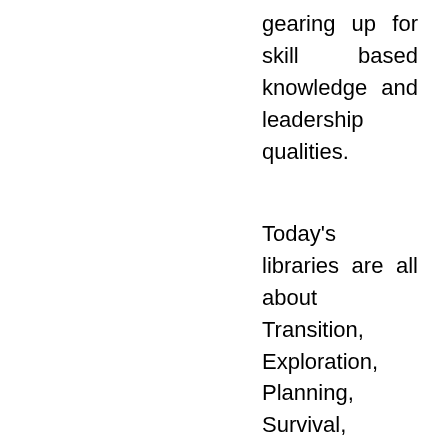gearing up for skill based knowledge and leadership qualities.
Today's libraries are all about Transition, Exploration, Planning, Survival, Optimism and Opportunities and Librarians are Linking Ideas Between Readers And Resources .i.e. Informing, Enriching, Sharing!